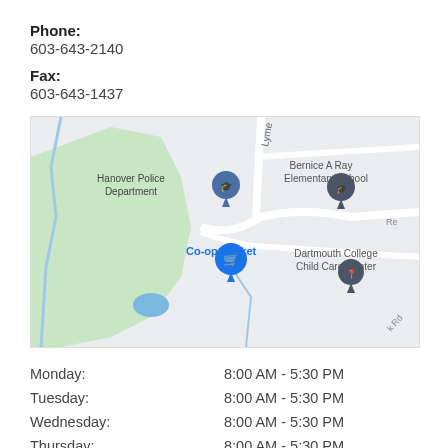Phone:
603-643-2140
Fax:
603-643-1437
[Figure (map): Google Maps view showing Hanover Police Department, Co-op Market, Bernice A Ray Elementary School, and Dartmouth College Child Care Center]
| Monday: | 8:00 AM - 5:30 PM |
| Tuesday: | 8:00 AM - 5:30 PM |
| Wednesday: | 8:00 AM - 5:30 PM |
| Thursday: | 8:00 AM - 5:30 PM |
| Friday: | 8:00 AM - 5:30 PM |